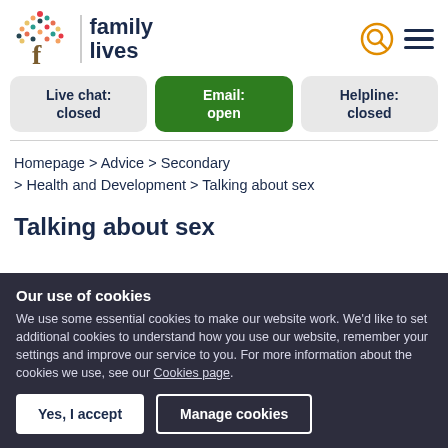[Figure (logo): Family Lives logo with colorful tree and stylized f]
Live chat: closed
Email: open
Helpline: closed
Homepage > Advice > Secondary > Health and Development > Talking about sex
Talking about sex
Our use of cookies
We use some essential cookies to make our website work. We'd like to set additional cookies to understand how you use our website, remember your settings and improve our service to you. For more information about the cookies we use, see our Cookies page.
Yes, I accept | Manage cookies